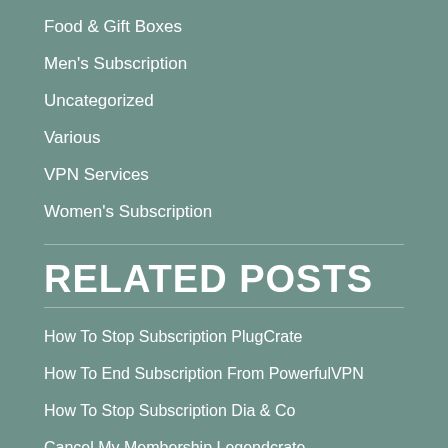Food & Gift Boxes
Men's Subscription
Uncategorized
Various
VPN Services
Women's Subscription
RELATED POSTS
How To Stop Subscription PlugCrate
How To End Subscription From PowerfulVPN
How To Stop Subscription Dia & Co
Cancel My Membership Legendcrate
How To Refund Trendsend